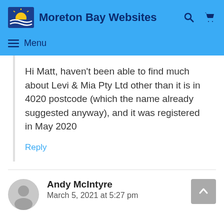Moreton Bay Websites
≡ Menu
Hi Matt, haven't been able to find much about Levi & Mia Pty Ltd other than it is in 4020 postcode (which the name already suggested anyway), and it was registered in May 2020
Reply
Andy McIntyre
March 5, 2021 at 5:27 pm